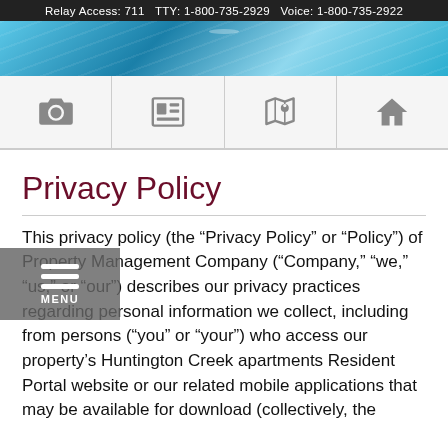Relay Access: 711   TTY: 1-800-735-2929   Voice: 1-800-735-2922
[Figure (photo): Blue water/nature hero banner image]
[Figure (infographic): Navigation icon bar with camera, layout/newspaper, map, and home icons]
Privacy Policy
This privacy policy (the “Privacy Policy” or “Policy”) of Property Management Company (“Company,” “we,” “us,” or “our”) describes our privacy practices regarding personal information we collect, including from persons (“you” or “your”) who access our property’s Huntington Creek apartments Resident Portal website or our related mobile applications that may be available for download (collectively, the